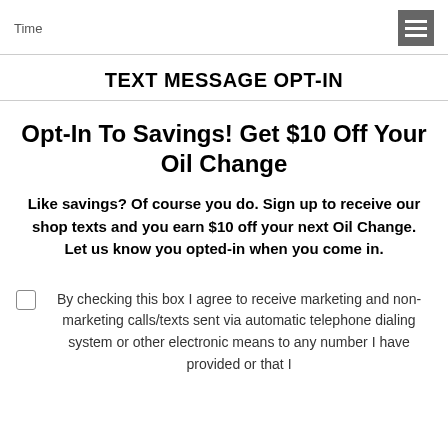Time
TEXT MESSAGE OPT-IN
Opt-In To Savings! Get $10 Off Your Oil Change
Like savings? Of course you do. Sign up to receive our shop texts and you earn $10 off your next Oil Change. Let us know you opted-in when you come in.
By checking this box I agree to receive marketing and non-marketing calls/texts sent via automatic telephone dialing system or other electronic means to any number I have provided or that I